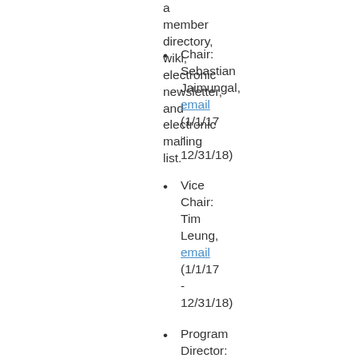a member directory, wiki, electronic newsletter, and electronic mailing list.
Chair: Sebastian Jaimungal, email (1/1/17 - 12/31/18)
Vice Chair: Tim Leung, email (1/1/17 - 12/31/18)
Program Director: Agostino Capponi,